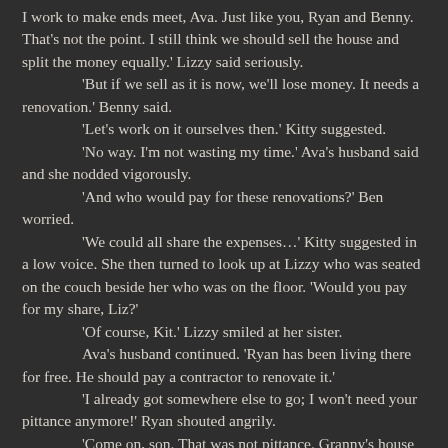I work to make ends meet, Ava. Just like you, Ryan and Benny. That's not the point. I still think we should sell the house and split the money equally.' Lizzy said seriously.
	'But if we sell as it is now, we'll lose money. It needs a renovation.' Benny said.
	'Let's work on it ourselves then.' Kitty suggested.
	'No way. I'm not wasting my time.' Ava's husband said and she nodded vigorously.
	'And who would pay for these renovations?' Ben worried.
	'We could all share the expenses…' Kitty suggested in a low voice. She then turned to look up at Lizzy who was seated on the couch beside her who was on the floor. 'Would you pay for my share, Liz?'
	'Of course, Kit.' Lizzy smiled at her sister.
	Ava's husband continued. 'Ryan has been living there for free. He should pay a contractor to renovate it.'
	'I already got somewhere else to go; I won't need your pittance anymore!' Ryan shouted angrily.
	'Come on, son. That was not pittance. Granny's house is yours too; she would love to know that she